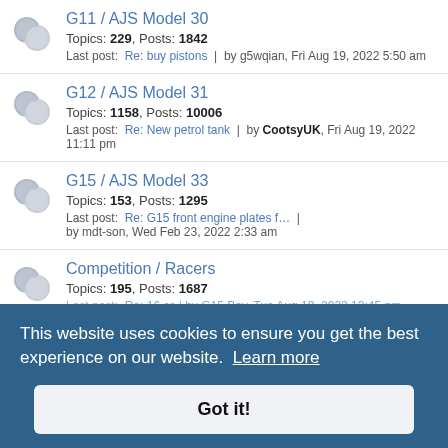G11 / AJS Model 30 — Topics: 229, Posts: 1842 — Last post: Re: buy pistons | by g5wqian, Fri Aug 19, 2022 5:50 am
G12 / AJS Model 31 — Topics: 1158, Posts: 10006 — Last post: Re: New petrol tank | by CootsyUK, Fri Aug 19, 2022 11:11 pm
G15 / AJS Model 33 — Topics: 153, Posts: 1295 — Last post: Re: G15 front engine plates f... | by mdt-son, Wed Feb 23, 2022 2:33 am
Competition / Racers — Topics: 195, Posts: 1687 — Last post: Re: 16 cs |  by G15 Boy, Tue Aug 19, 2022 12:45 pm
Prewar — Last post: Re: Foot change ? by Tazmantic, Wed Aug 03, 2022 3:50 pm
Two Strokes — Topics: 78, Posts: 467 — Last post: Re: AJS Stormer Frame | by Andy.S, Wed Nov 03, 2021 1:30 pm
This website uses cookies to ensure you get the best experience on our website. Learn more
Got it!